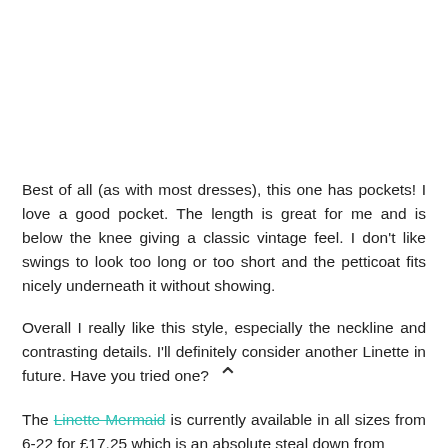Best of all (as with most dresses), this one has pockets! I love a good pocket. The length is great for me and is below the knee giving a classic vintage feel. I don't like swings to look too long or too short and the petticoat fits nicely underneath it without showing.
Overall I really like this style, especially the neckline and contrasting details. I'll definitely consider another Linette in future. Have you tried one?
The Linette Mermaid is currently available in all sizes from 6-22 for £17.25 which is an absolute steal down from